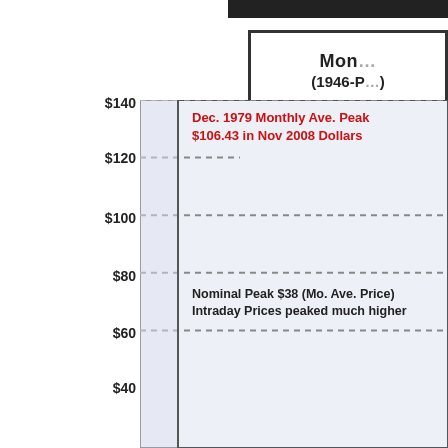Monthly (1946-P...
[Figure (continuous-plot): Partial view of a monthly oil/gasoline price chart from 1946 to present, showing y-axis from $40 to $140, with labeled gridlines at $60, $80, $100, $120, $140. Annotations: Dec. 1979 Monthly Ave. Peak $106.43 in Nov 2008 Dollars (red), Nominal Peak $38 (Mo. Ave. Price) Intraday Prices peaked much higher (black).]
Dec. 1979 Monthly Ave. Peak $106.43 in Nov 2008 Dollars
Nominal Peak $38 (Mo. Ave. Price) Intraday Prices peaked much higher